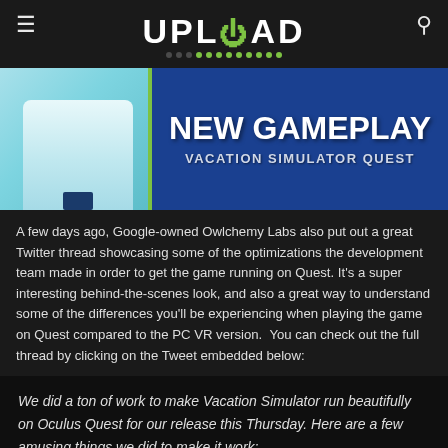UPLOAD
[Figure (screenshot): Screenshot of Vacation Simulator Quest new gameplay promotional image with text 'NEW GAMEPLAY VACATION SIMULATOR QUEST' on blue background with animated hand on left side]
A few days ago, Google-owned Owlchemy Labs also put out a great Twitter thread showcasing some of the optimizations the development team made in order to get the game running on Quest. It's a super interesting behind-the-scenes look, and also a great way to understand some of the differences you'll be experiencing when playing the game on Quest compared to the PC VR version.  You can check out the full thread by clicking on the Tweet embedded below:
We did a ton of work to make Vacation Simulator run beautifully on Oculus Quest for our release this Thursday. Here are a few amusing things we did to make it work: pic.twitter.com/qOoV8acEmc